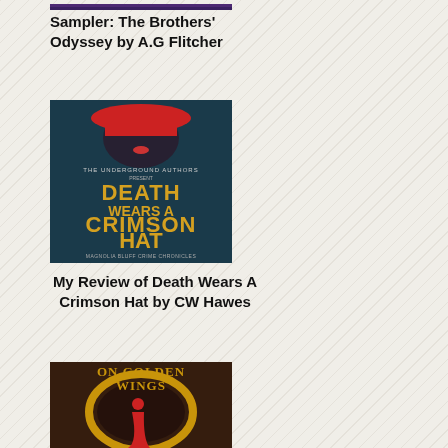[Figure (illustration): Book cover image partially visible at top of page (cropped)]
Sampler: The Brothers' Odyssey by A.G Flitcher
[Figure (illustration): Book cover for 'Death Wears A Crimson Hat' - Magnolia Bluff Crime Chronicles by The Underground Authors, showing a woman in a red hat with yellow title text on dark background]
My Review of Death Wears A Crimson Hat by CW Hawes
[Figure (illustration): Book cover for 'On Golden Wings' partially visible at bottom, showing a gold oval frame with a woman in a red dress]